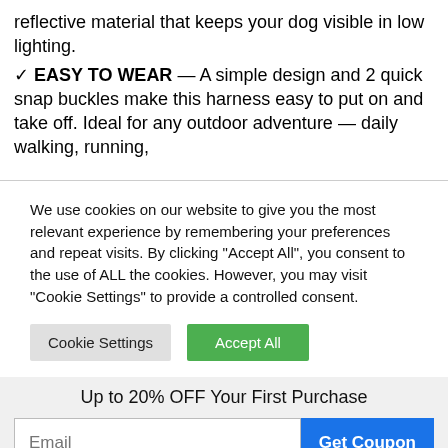reflective material that keeps your dog visible in low lighting.
✔ EASY TO WEAR — A simple design and 2 quick snap buckles make this harness easy to put on and take off. Ideal for any outdoor adventure — daily walking, running,
We use cookies on our website to give you the most relevant experience by remembering your preferences and repeat visits. By clicking "Accept All", you consent to the use of ALL the cookies. However, you may visit "Cookie Settings" to provide a controlled consent.
Cookie Settings | Accept All
Up to 20% OFF Your First Purchase
Email | Get Coupon
Add to cart